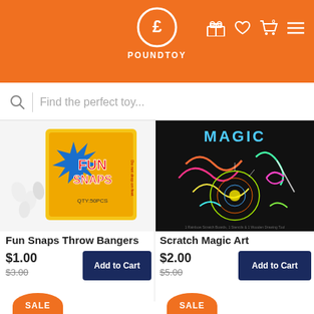POUNDTOY
Find the perfect toy...
[Figure (photo): Fun Snaps Throw Bangers product image - yellow box with fun snaps branding and small white snap items in front]
Fun Snaps Throw Bangers
$1.00 $3.00 Add to Cart
[Figure (photo): Scratch Magic Art product image - black background with colorful scratch art design showing birds and spirograph pattern]
Scratch Magic Art
$2.00 $5.00 Add to Cart